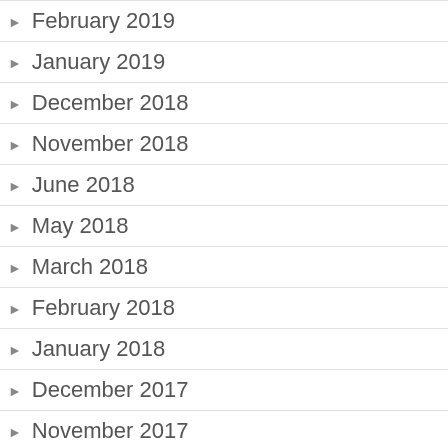February 2019
January 2019
December 2018
November 2018
June 2018
May 2018
March 2018
February 2018
January 2018
December 2017
November 2017
October 2017
August 2017
June 2017